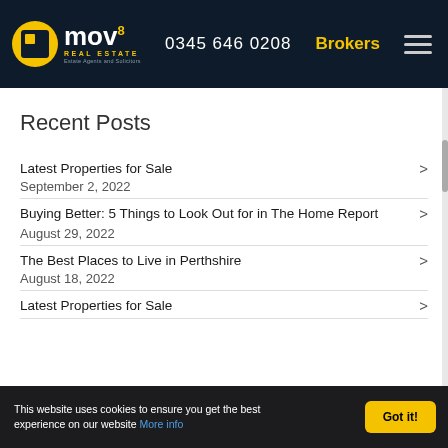mov8 REAL ESTATE — Estate Agents and Solicitors | 0345 646 0208 | Brokers
Recent Posts
Latest Properties for Sale — September 2, 2022
Buying Better: 5 Things to Look Out for in The Home Report — August 29, 2022
The Best Places to Live in Perthshire — August 18, 2022
Latest Properties for Sale
This website uses cookies to ensure you get the best experience on our website More info | Got it!